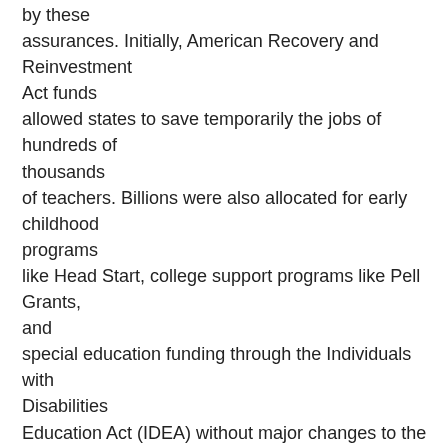by these assurances. Initially, American Recovery and Reinvestment Act funds allowed states to save temporarily the jobs of hundreds of thousands of teachers. Billions were also allocated for early childhood programs like Head Start, college support programs like Pell Grants, and special education funding through the Individuals with Disabilities Education Act (IDEA) without major changes to the design of those programs, in which funds flow to states through formulas based on numbers of eligible students. As some later complained, there were “no grant competitions, no long, complicated applications, no review teams with complex scoring rubrics.”

But the Obama/Duncan version of reform steadily took more